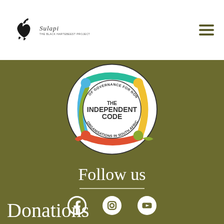[Figure (logo): Sulapi organization logo with stylized ibex/antelope animal figure and italic text 'Sulapi' with subtitle below]
[Figure (logo): The Independent Code of Governance for Non-Profit Organisations in South Africa circular logo with colorful swirling bands and dots]
Follow us
[Figure (other): Social media icons: Facebook, Instagram, YouTube in white on olive-green background]
Donations